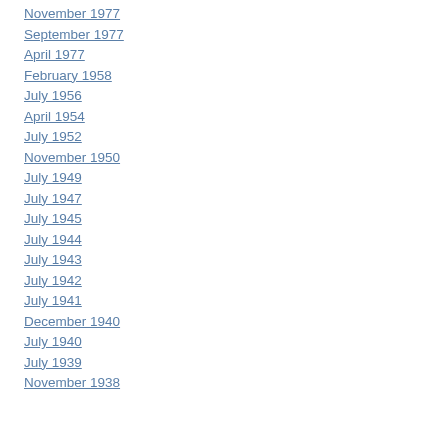November 1977
September 1977
April 1977
February 1958
July 1956
April 1954
July 1952
November 1950
July 1949
July 1947
July 1945
July 1944
July 1943
July 1942
July 1941
December 1940
July 1940
July 1939
November 1938